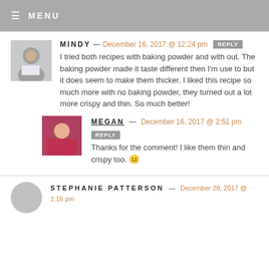≡ MENU
MINDY — December 16, 2017 @ 12:24 pm REPLY
I tried both recipes with baking powder and with out. The baking powder made it taste different then I'm use to but it does seem to make them thicker. I liked this recipe so much more with no baking powder, they turned out a lot more crispy and thin. So much better!
MEGAN — December 16, 2017 @ 2:51 pm REPLY
Thanks for the comment! I like them thin and crispy too. 😐
STEPHANIE PATTERSON — December 28, 2017 @ 1:16 pm